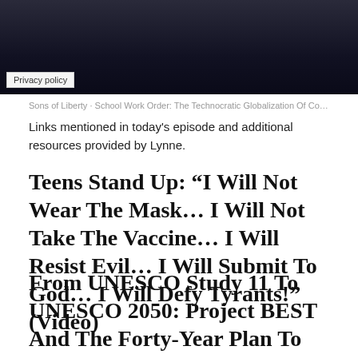[Figure (photo): Dark banner image with noise/static texture at the top of the page]
Privacy policy
Sons of Liberty · School Work Order: The Technocratic Globalization Of Corporatized Educa...
Links mentioned in today's episode and additional resources provided by Lynne.
Teens Stand Up: “I Will Not Wear The Mask… I Will Not Take The Vaccine… I Will Resist Evil… I Will Submit To God… I Will Defy Tyrants!” (Video)
From UNESCO Study 11 To UNESCO 2050: Project BEST And The Forty-Year Plan To Reimagine Education For The Fourth Industrial Revolution